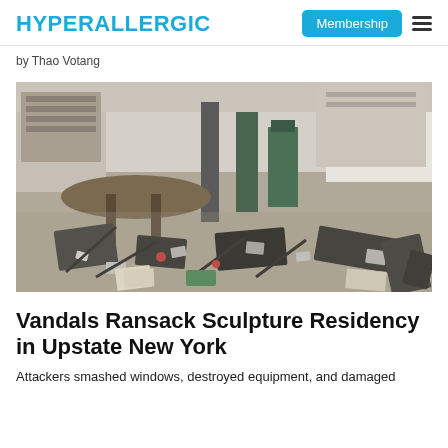HYPERALLERGIC | Membership
by Thao Votang
[Figure (photo): Interior of a vandalized sculpture studio or workshop. The floor is covered with debris, overturned chairs, scattered papers, broken items, and what appears to be smashed equipment. Tables and machinery are visible in the background.]
Vandals Ransack Sculpture Residency in Upstate New York
Attackers smashed windows, destroyed equipment, and damaged